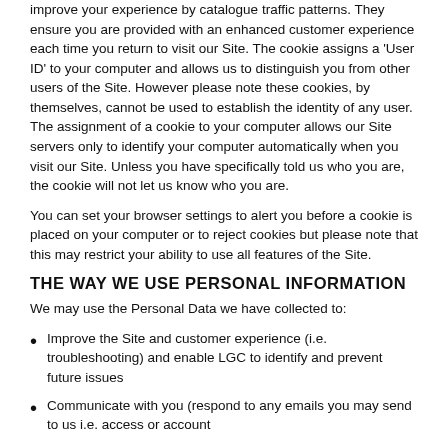improve your experience by catalogue traffic patterns. They ensure you are provided with an enhanced customer experience each time you return to visit our Site. The cookie assigns a 'User ID' to your computer and allows us to distinguish you from other users of the Site. However please note these cookies, by themselves, cannot be used to establish the identity of any user. The assignment of a cookie to your computer allows our Site servers only to identify your computer automatically when you visit our Site. Unless you have specifically told us who you are, the cookie will not let us know who you are.
You can set your browser settings to alert you before a cookie is placed on your computer or to reject cookies but please note that this may restrict your ability to use all features of the Site.
THE WAY WE USE PERSONAL INFORMATION
We may use the Personal Data we have collected to:
Improve the Site and customer experience (i.e. troubleshooting) and enable LGC to identify and prevent future issues
Communicate with you (respond to any emails you may send to us i.e. access or account